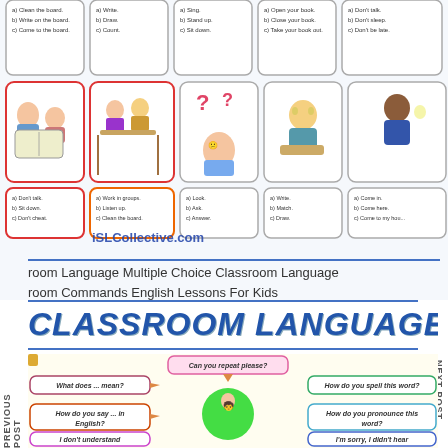[Figure (illustration): Classroom language multiple choice worksheet with cartoon images of children doing classroom activities, arranged in a grid with colored borders. Each card shows an illustration and multiple choice options (a, b, c) for classroom commands.]
iSLCollective.com
room Language Multiple Choice Classroom Language room Commands English Lessons For Kids
[Figure (illustration): CLASSROOM LANGUAGE banner title in large bold italic blue text followed by an educational poster showing speech bubbles with classroom phrases: 'Can you repeat please?', 'What does ... mean?', 'How do you spell this word?', 'How do you say ... in English?', 'How do you pronounce this word?', 'I don't understand', 'I'm sorry, I didn't hear'. A cartoon student figure sits in the center surrounded by the speech bubbles.]